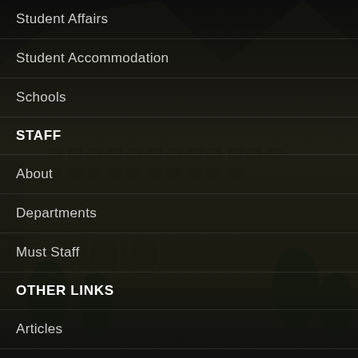Student Affairs
Student Accommodation
Schools
STAFF
About
Departments
Must Staff
OTHER LINKS
Articles
Events
News